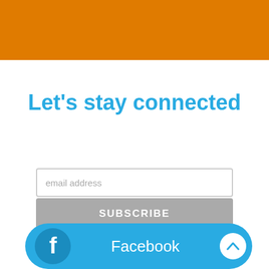Let's stay connected
email address
SUBSCRIBE
Facebook